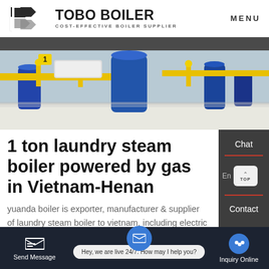[Figure (logo): TOBO BOILER logo with geometric icon and tagline COST-EFFECTIVE BOILER SUPPLIER]
[Figure (photo): Industrial boiler equipment with yellow and blue pipes and machinery in a factory setting]
1 ton laundry steam boiler powered by gas in Vietnam-Henan
yuanda boiler is exporter, manufacturer & supplier of laundry steam boiler to vietnam, including electric steam boiler, oil fired steam boiler, gas fired steam boiler,
[Figure (screenshot): Bottom navigation bar with Send Message, chat widget saying Hey, we are live 24/7. How may I help you?, and Inquiry Online buttons on dark background]